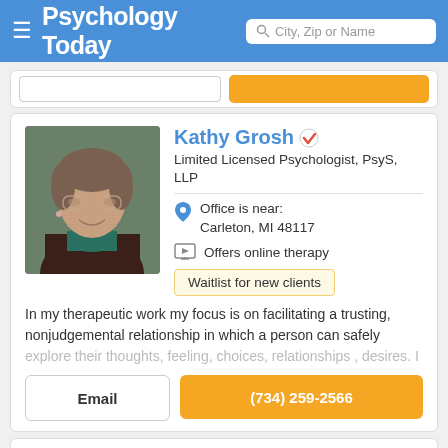Psychology Today — City, Zip or Name search
Kathy Grosh
Limited Licensed Psychologist, PsyS, LLP
Office is near: Carleton, MI 48117
Offers online therapy
Waitlist for new clients
In my therapeutic work my focus is on facilitating a trusting, nonjudgemental relationship in which a person can safely explore their thoughts, feeling, choices, relationships , desires. I
Email
(734) 259-2566
Lemontree Counseling Services, LLC